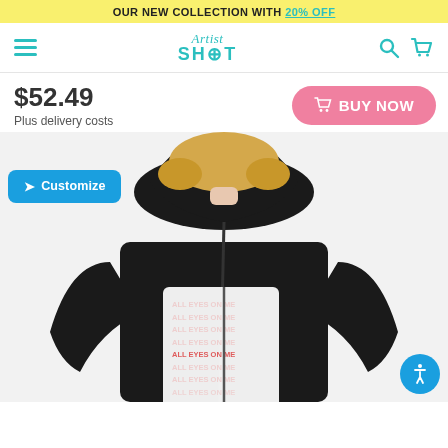OUR NEW COLLECTION WITH 20% OFF
[Figure (logo): Artist Shot logo with teal hamburger menu, script 'Artist' above bold 'SHOT' text, search and cart icons in teal]
$52.49
Plus delivery costs
[Figure (photo): Black hoodie with 'ALL EYES ON ME' graphic print in a wavy-bordered white rectangle on the chest, worn by a model with blonde hair, with a blue Customize button overlay and accessibility icon]
[Figure (other): Pink BUY NOW button with shopping cart icon]